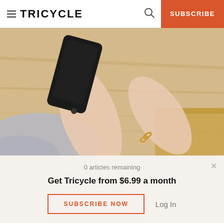≡ TRICYCLE  🔍  SUBSCRIBE
[Figure (photo): Overhead view of a person's hands holding a smartphone over a wooden table surface, wearing a grey sweater and a ring on one finger.]
0 articles remaining
Get Tricycle from $6.99 a month
SUBSCRIBE NOW   Log In